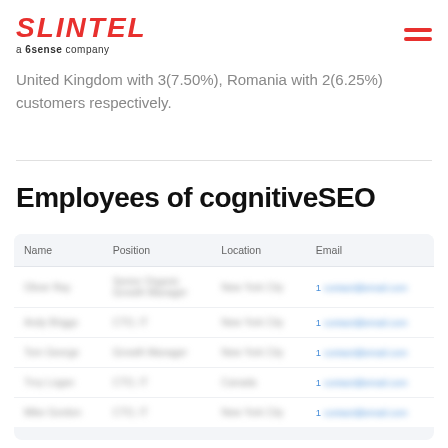SLINTEL a 6sense company
United Kingdom with 3(7.50%), Romania with 2(6.25%) customers respectively.
Employees of cognitiveSEO
| Name | Position | Location | Email |
| --- | --- | --- | --- |
| Oliver Ray | Senior Organic Growth Manager | New York City | 1 [contact@email.com] |
| Andy Briggs | CTO, IT | New York City | 1 [contact@email.com] |
| Tom George | Growth Manager | New York City | 1 [contact@email.com] |
| Troy Logan | CTO, IT | Canada | 1 [contact@email.com] |
| Mike Gordon | CTO, IT | New York City | 1 [contact@email.com] |